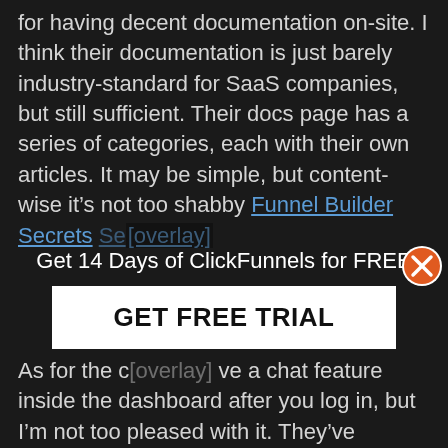for having decent documentation on-site. I think their documentation is just barely industry-standard for SaaS companies, but still sufficient. Their docs page has a series of categories, each with their own articles. It may be simple, but content-wise it’s not too shabby Funnel Builder Secrets [link text]
Get 14 Days of ClickFunnels for FREE
GET FREE TRIAL
As for the c[ut off] ve a chat feature inside the dashboard after you log in, but I’m not too pleased with it. They’ve generally been helpful for simple questions and basic troubleshooting… but when I’ve had more advanced questions, I’ve found them pretty unhelpful. With one specific HTML publishing [cut off]